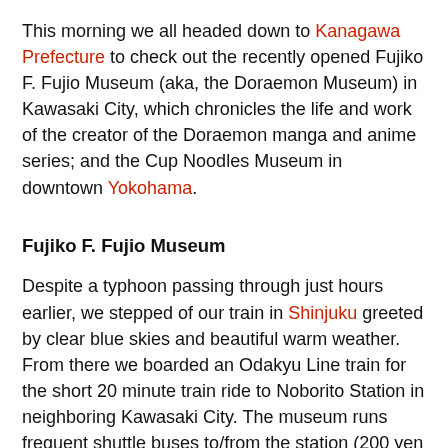This morning we all headed down to Kanagawa Prefecture to check out the recently opened Fujiko F. Fujio Museum (aka, the Doraemon Museum) in Kawasaki City, which chronicles the life and work of the creator of the Doraemon manga and anime series; and the Cup Noodles Museum in downtown Yokohama.
Fujiko F. Fujio Museum
Despite a typhoon passing through just hours earlier, we stepped of our train in Shinjuku greeted by clear blue skies and beautiful warm weather. From there we boarded an Odakyu Line train for the short 20 minute train ride to Noborito Station in neighboring Kawasaki City. The museum runs frequent shuttle buses to/from the station (200 yen one way) which are decorated inside and out with characters from the Doraemon